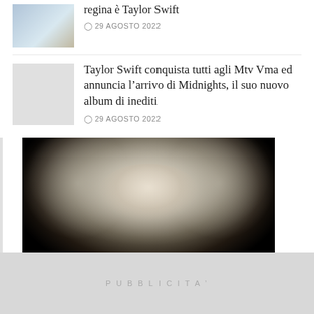regina è Taylor Swift
⊙ 29 AGOSTO 2022
Taylor Swift conquista tutti agli Mtv Vma ed annuncia l'arrivo di Midnights, il suo nuovo album di inediti
⊙ 29 AGOSTO 2022
[Figure (photo): Portrait of a blonde woman with wavy hair against a dark background, hand near chin]
PUBBLICITA'